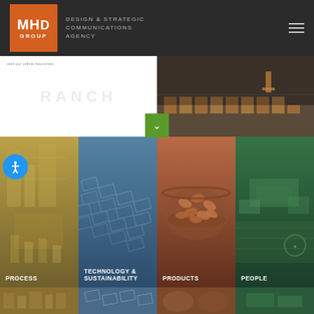[Figure (logo): MHD Group logo — orange square with white MHD GROUP text, dark background header with tagline DESIGN & STRATEGIC COMMUNICATIONS AGENCY and hamburger menu icon]
visit our online resources.
[Figure (photo): Warehouse/logistics aerial photo showing rows of stacked boxes and a forklift on a dark floor]
[Figure (photo): Four colored image panels: PROCESS (gold/yellow tones, industrial equipment), TECHNOLOGY & SUSTAINABILITY (blue tones, solar panels), PRODUCTS (brown/terracotta tones, bowl of almonds), PEOPLE (green tones, aerial facility view)]
[Figure (photo): Bottom strip showing industrial/facility imagery across four segments]